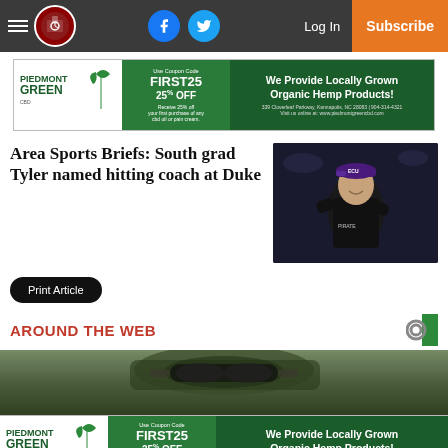Navigation bar with hamburger menu, logo, Facebook, Twitter, Log In, Subscribe
[Figure (advertisement): Piedmont Green CBD ad: Use Coupon Code FIRST25 - Receive 25% OFF your first purchase of any cbd oil or pain cream. We Provide Locally Grown Organic Hemp Products! 339 Cloverleaf Parkway, Kannapolis, NC 28083 | 904-314-4321 Visit us online at: www.piedmontgreencbd.com]
Area Sports Briefs: South grad Tyler named hitting coach at Duke
[Figure (photo): Photo of a man in a dark baseball uniform and purple cap smiling on a baseball field at night]
Print Article
AROUND THE WEB
[Figure (photo): Close-up photo of military or tactical gear/equipment with blurred background]
[Figure (advertisement): Piedmont Green CBD ad: Use Coupon Code FIRST25 - Receive 25% OFF your first purchase of any cbd oil or pain cream. We Provide Locally Grown Organic Hemp Products! 339 Cloverleaf Parkway, Kannapolis, NC 28083 | 904-314-4321 Visit us online at: www.piedmontgreencbd.com]